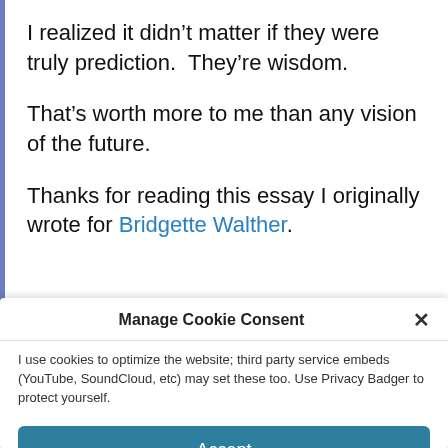I realized it didn’t matter if they were truly prediction.  They’re wisdom.
That’s worth more to me than any vision of the future.
Thanks for reading this essay I originally wrote for Bridgette Walther.
Manage Cookie Consent
I use cookies to optimize the website; third party service embeds (YouTube, SoundCloud, etc) may set these too. Use Privacy Badger to protect yourself.
Accept